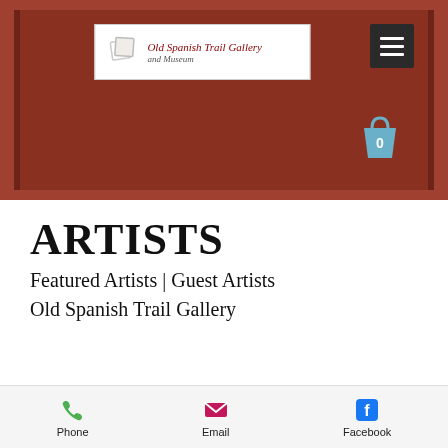[Figure (screenshot): Website header with terracotta/brown background, Old Spanish Trail Gallery and Museum logo on left, hamburger menu button on right, shopping bag icon with '0' in lower right]
ARTISTS
Featured Artists | Guest Artists
Old Spanish Trail Gallery
[Figure (photo): Landscape photo showing rocky terrain with blue sky, partially visible at bottom of page]
Phone   Email   Facebook